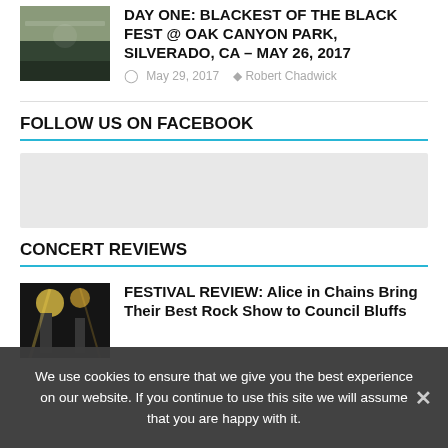[Figure (photo): Concert crowd photo thumbnail for festival article]
DAY ONE: BLACKEST OF THE BLACK FEST @ OAK CANYON PARK, SILVERADO, CA – MAY 26, 2017
May 29, 2017   Robert Chadwick
FOLLOW US ON FACEBOOK
[Figure (other): Facebook widget placeholder box (light grey)]
CONCERT REVIEWS
[Figure (photo): Stage lights photo thumbnail for Alice in Chains review]
FESTIVAL REVIEW: Alice in Chains Bring Their Best Rock Show to Council Bluffs
We use cookies to ensure that we give you the best experience on our website. If you continue to use this site we will assume that you are happy with it.